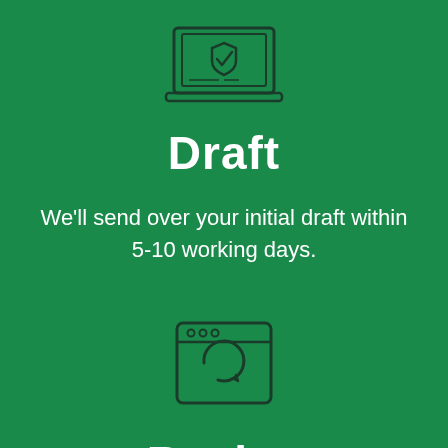[Figure (illustration): Line-art icon of a laptop with a shield and checkmark on the screen, drawn in dark color on green background]
Draft
We'll send over your initial draft within 5-10 working days.
[Figure (illustration): Line-art icon of a browser window with a circular refresh/revise arrow, drawn in dark color on green background]
Revise